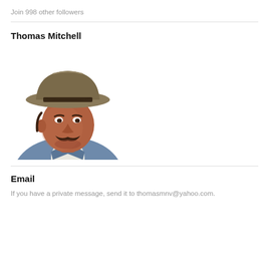Join 998 other followers
[Figure (photo): Portrait photo of Thomas Mitchell, a man wearing a tan cowboy hat and denim jacket with a mustache, photographed against a white background.]
Thomas Mitchell
Email
If you have a private message, send it to thomasmnv@yahoo.com.